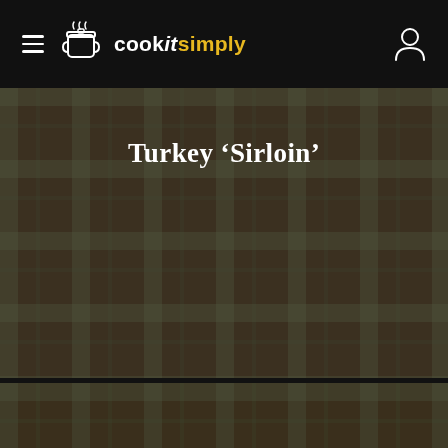cookitsimply – navigation bar
Turkey ‘Sirloin’
Beefsteak in Mustard Sauce